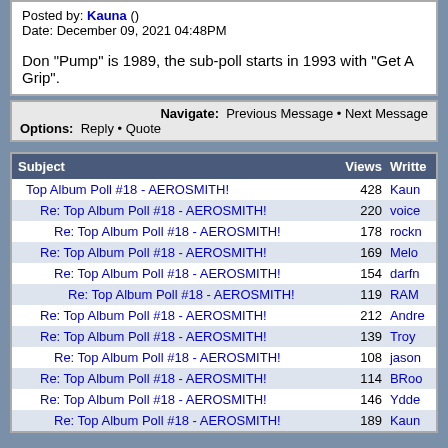Posted by: Kauna ()
Date: December 09, 2021 04:48PM
Don "Pump" is 1989, the sub-poll starts in 1993 with "Get A Grip".
Navigate: Previous Message • Next Message
Options: Reply • Quote
| Subject | Views | Written |
| --- | --- | --- |
| Top Album Poll #18 - AEROSMITH! | 428 | Kaun |
| Re: Top Album Poll #18 - AEROSMITH! | 220 | voice |
| Re: Top Album Poll #18 - AEROSMITH! | 178 | rockn |
| Re: Top Album Poll #18 - AEROSMITH! | 169 | Melo |
| Re: Top Album Poll #18 - AEROSMITH! | 154 | darfn |
| Re: Top Album Poll #18 - AEROSMITH! | 119 | RAM |
| Re: Top Album Poll #18 - AEROSMITH! | 212 | Andre |
| Re: Top Album Poll #18 - AEROSMITH! | 139 | Troy |
| Re: Top Album Poll #18 - AEROSMITH! | 108 | jason |
| Re: Top Album Poll #18 - AEROSMITH! | 114 | BRoo |
| Re: Top Album Poll #18 - AEROSMITH! | 146 | Ydde |
| Re: Top Album Poll #18 - AEROSMITH! | 189 | Kaun |